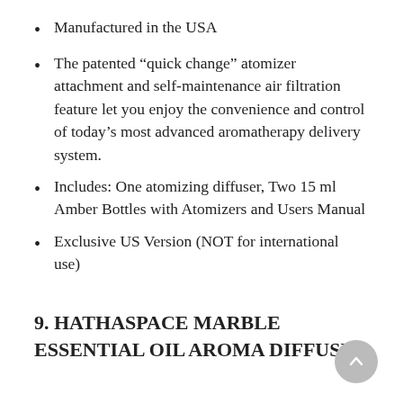Manufactured in the USA
The patented “quick change” atomizer attachment and self-maintenance air filtration feature let you enjoy the convenience and control of today’s most advanced aromatherapy delivery system.
Includes: One atomizing diffuser, Two 15 ml Amber Bottles with Atomizers and Users Manual
Exclusive US Version (NOT for international use)
9. HATHASPACE MARBLE ESSENTIAL OIL AROMA DIFFUSER